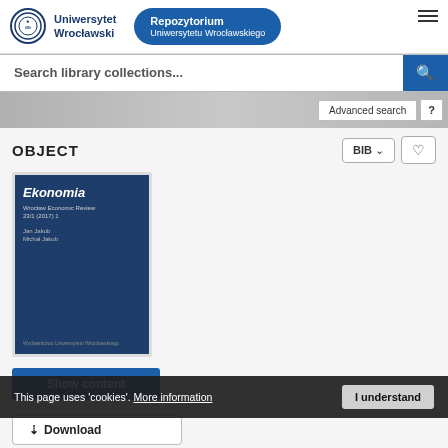[Figure (logo): Uniwersytet Wrocławski logo with circular university seal and Repozytorium Uniwersytetu Wrocławskiego blue pill button]
Search library collections...
Advanced search  ?
OBJECT
[Figure (photo): Cover of Ekonomia – Wrocław Economic Review book with dark blue background]
Show content
⬇ Download
DESCRIPTION   INFORMATION   STRUCTURE
This page uses 'cookies'. More information
I understand